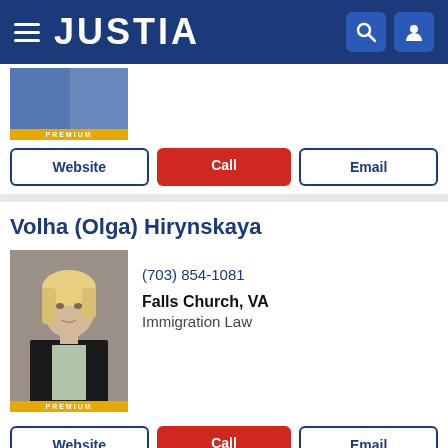JUSTIA
[Figure (photo): Premium attorney photo thumbnail (partial, top of page)]
Website | Call | Email (buttons for first attorney)
Volha (Olga) Hirynskaya
[Figure (photo): Professional headshot of Volha (Olga) Hirynskaya, a blonde woman in a black blazer, with PREMIUM badge]
(703) 854-1081
Falls Church, VA
Immigration Law
Website | Call | Email (buttons for Volha Hirynskaya)
Gary Brooks Mims
[Figure (photo): Professional headshot of Gary Brooks Mims, an older man in a dark suit with red tie]
(703) 925-0500
Fairfax, VA